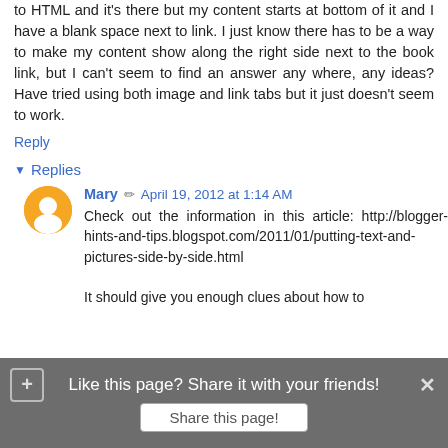to HTML and it's there but my content starts at bottom of it and I have a blank space next to link. I just know there has to be a way to make my content show along the right side next to the book link, but I can't seem to find an answer any where, any ideas? Have tried using both image and link tabs but it just doesn't seem to work.
Reply
Replies
Mary   April 19, 2012 at 1:14 AM
Check out the information in this article: http://blogger-hints-and-tips.blogspot.com/2011/01/putting-text-and-pictures-side-by-side.html

It should give you enough clues about how to
Like this page? Share it with your friends!
Share this page!